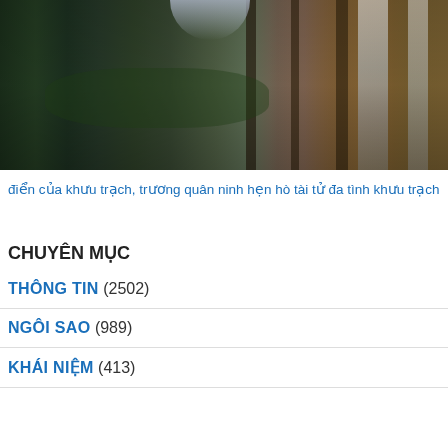[Figure (photo): Landscape photo showing a rocky canyon or gorge with lush green vegetation, tall rock formations, and a waterfall visible on the right side. A narrow gap of sky is visible at the top center.]
điển của khưu trạch, trương quân ninh hẹn hò tài tử đa tình khưu trạch
CHUYÊN MỤC
THÔNG TIN (2502)
NGÔI SAO (989)
KHÁI NIỆM (413)